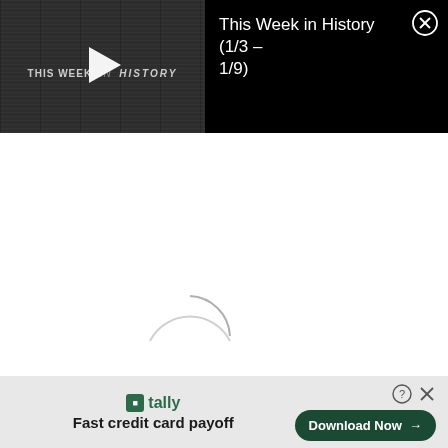[Figure (screenshot): Video thumbnail showing 'THIS WEEK IN HISTORY' text on a dark newspaper-textured background with a play button]
This Week in History (1/3 – 1/9)
[Figure (screenshot): Advertisement banner for Tally app: 'Fast credit card payoff' with a 'Download Now' button]